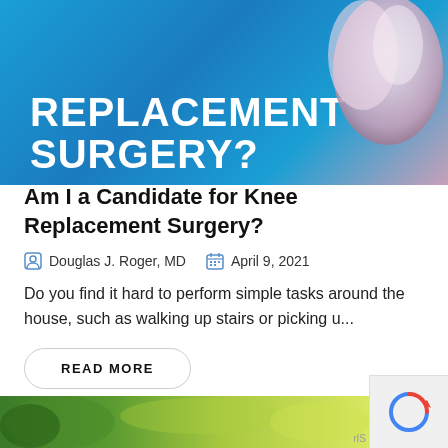[Figure (photo): Blue banner image with bold white text 'REPLACEMENT SURGERY?' and a tooth/dental image on the right side with pink/white tones]
Am I a Candidate for Knee Replacement Surgery?
Douglas J. Roger, MD   April 9, 2021
Do you find it hard to perform simple tasks around the house, such as walking up stairs or picking u...
READ MORE
[Figure (photo): Partial green leafy/herbal image at the bottom of the page]